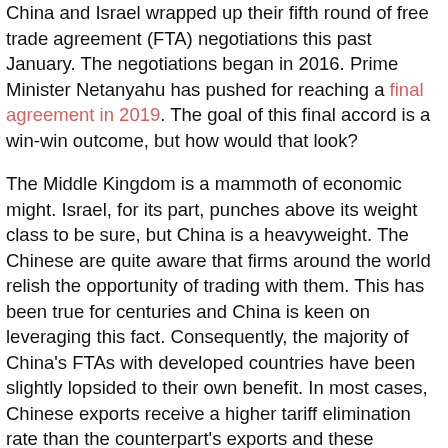China and Israel wrapped up their fifth round of free trade agreement (FTA) negotiations this past January. The negotiations began in 2016. Prime Minister Netanyahu has pushed for reaching a final agreement in 2019. The goal of this final accord is a win-win outcome, but how would that look?
The Middle Kingdom is a mammoth of economic might. Israel, for its part, punches above its weight class to be sure, but China is a heavyweight. The Chinese are quite aware that firms around the world relish the opportunity of trading with them. This has been true for centuries and China is keen on leveraging this fact. Consequently, the majority of China's FTAs with developed countries have been slightly lopsided to their own benefit. In most cases, Chinese exports receive a higher tariff elimination rate than the counterpart's exports and these eliminations often apply immediately whereas the counterpart often has to wait a period of years for all of the tariff eliminations to go into effect. The critical point is that...